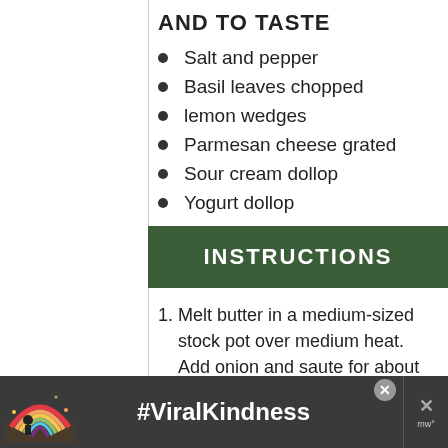AND TO TASTE
Salt and pepper
Basil leaves chopped
lemon wedges
Parmesan cheese grated
Sour cream dollop
Yogurt dollop
INSTRUCTIONS
Melt butter in a medium-sized stock pot over medium heat. Add onion and saute for about
[Figure (other): Advertisement banner with rainbow illustration and #ViralKindness text on dark background]